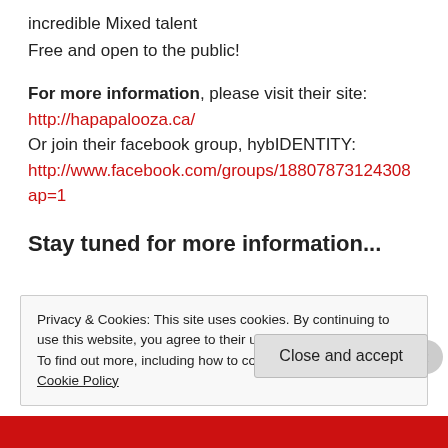incredible Mixed talent
Free and open to the public!
For more information, please visit their site:
http://hapapalooza.ca/
Or join their facebook group, hybIDENTITY:
http://www.facebook.com/groups/18807873124308ap=1
Stay tuned for more information...
Privacy & Cookies: This site uses cookies. By continuing to use this website, you agree to their use.
To find out more, including how to control cookies, see here: Cookie Policy
Close and accept